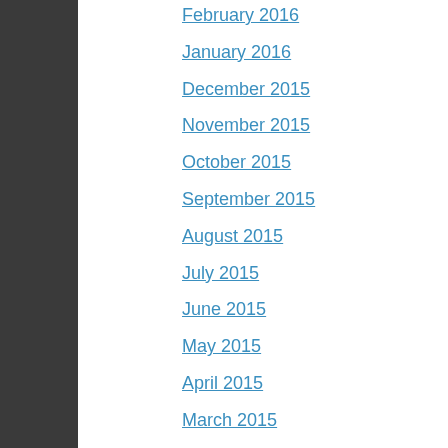February 2016
January 2016
December 2015
November 2015
October 2015
September 2015
August 2015
July 2015
June 2015
May 2015
April 2015
March 2015
February 2015
January 2015
November 2014
September 2014